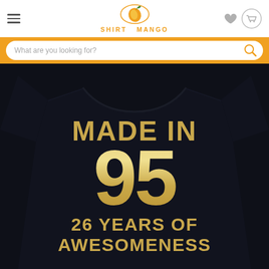Shirt Mango - navigation header with logo, hamburger menu, wishlist and cart icons
What are you looking for?
[Figure (photo): Black t-shirt with gold metallic text reading MADE IN 95 26 YEARS OF AWESOMENESS on a white background]